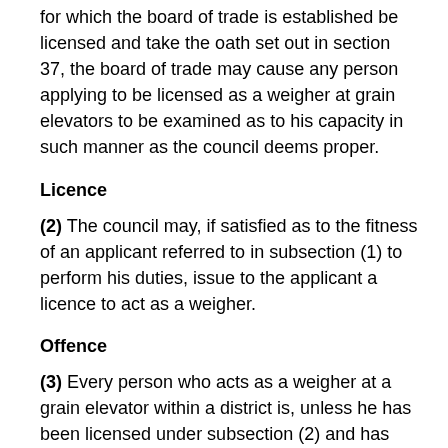for which the board of trade is established be licensed and take the oath set out in section 37, the board of trade may cause any person applying to be licensed as a weigher at grain elevators to be examined as to his capacity in such manner as the council deems proper.
Licence
(2) The council may, if satisfied as to the fitness of an applicant referred to in subsection (1) to perform his duties, issue to the applicant a licence to act as a weigher.
Offence
(3) Every person who acts as a weigher at a grain elevator within a district is, unless he has been licensed under subsection (2) and has taken the oath of office set out in section 37, liable, on summary conviction, to a fine of ten dollars for each offence.